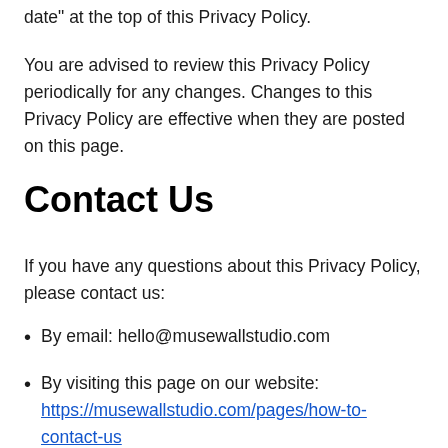date" at the top of this Privacy Policy.
You are advised to review this Privacy Policy periodically for any changes. Changes to this Privacy Policy are effective when they are posted on this page.
Contact Us
If you have any questions about this Privacy Policy, please contact us:
By email: hello@musewallstudio.com
By visiting this page on our website: https://musewallstudio.com/pages/how-to-contact-us